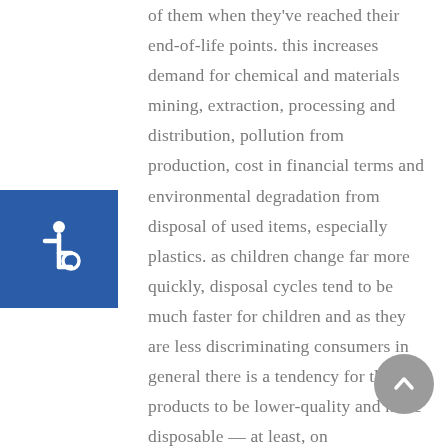of them when they've reached their end-of-life points. this increases demand for chemical and materials mining, extraction, processing and distribution, pollution from production, cost in financial terms and environmental degradation from disposal of used items, especially plastics. as children change far more quickly, disposal cycles tend to be much faster for children and as they are less discriminating consumers in general there is a tendency for their products to be lower-quality and more disposable — at least, on
[Figure (illustration): Accessibility icon (wheelchair user symbol) in white on a blue square background]
[Figure (illustration): Gray circular scroll-to-top button with upward chevron arrow]